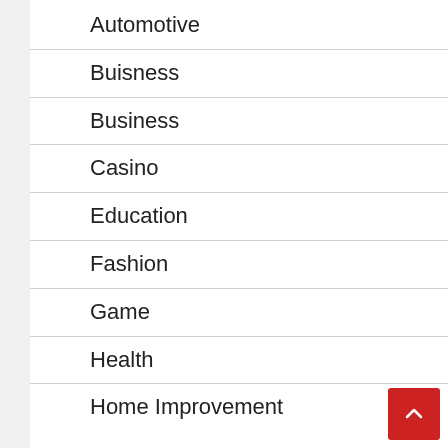Automotive
Buisness
Business
Casino
Education
Fashion
Game
Health
Home Improvement